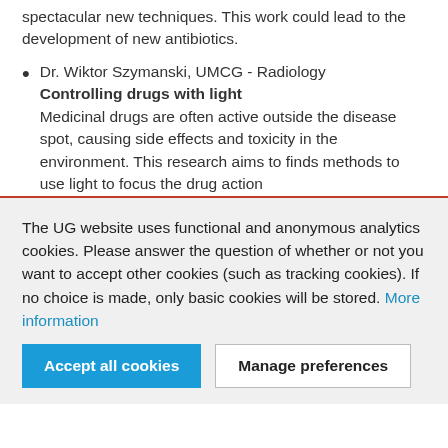spectacular new techniques. This work could lead to the development of new antibiotics.
Dr. Wiktor Szymanski, UMCG - Radiology
Controlling drugs with light
Medicinal drugs are often active outside the disease spot, causing side effects and toxicity in the environment. This research aims to finds methods to use light to focus the drug action
The UG website uses functional and anonymous analytics cookies. Please answer the question of whether or not you want to accept other cookies (such as tracking cookies). If no choice is made, only basic cookies will be stored. More information
Accept all cookies | Manage preferences